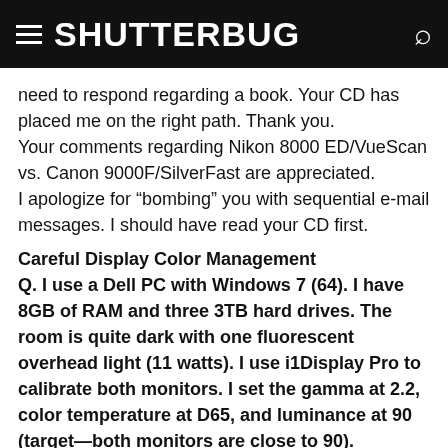SHUTTERBUG
need to respond regarding a book. Your CD has placed me on the right path. Thank you.
Your comments regarding Nikon 8000 ED/VueScan vs. Canon 9000F/SilverFast are appreciated.
I apologize for “bombing” you with sequential e-mail messages. I should have read your CD first.
Careful Display Color Management
Q. I use a Dell PC with Windows 7 (64). I have 8GB of RAM and three 3TB hard drives. The room is quite dark with one fluorescent overhead light (11 watts). I use i1Display Pro to calibrate both monitors. I set the gamma at 2.2, color temperature at D65, and luminance at 90 (target—both monitors are close to 90).